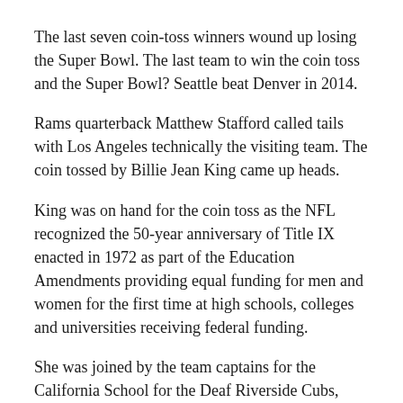The last seven coin-toss winners wound up losing the Super Bowl. The last team to win the coin toss and the Super Bowl? Seattle beat Denver in 2014.
Rams quarterback Matthew Stafford called tails with Los Angeles technically the visiting team. The coin tossed by Billie Jean King came up heads.
King was on hand for the coin toss as the NFL recognized the 50-year anniversary of Title IX enacted in 1972 as part of the Education Amendments providing equal funding for men and women for the first time at high schools, colleges and universities receiving federal funding.
She was joined by the team captains for the California School for the Deaf Riverside Cubs, members of the high school girls flag league of champions and girls youth tackle football players from the Inglewood Chargers and Watts Rams.